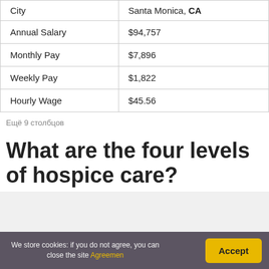|  | Santa Monica, CA |
| --- | --- |
| City | Santa Monica, CA |
| Annual Salary | $94,757 |
| Monthly Pay | $7,896 |
| Weekly Pay | $1,822 |
| Hourly Wage | $45.56 |
Ещё 9 столбцов
What are the four levels of hospice care?
We store cookies: if you do not agree, you can close the site Agreemen